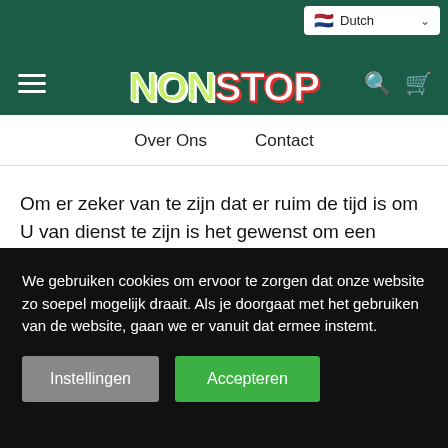[Figure (screenshot): NonStop website header with green background, hamburger menu on left, NonStop logo in center, search and cart icons on right, Dutch language selector top right]
Over Ons   Contact
Om er zeker van te zijn dat er ruim de tijd is om U van dienst te zijn is het gewenst om een afspraak te maken. Dit geld voor zowel binnen als buiten onze openingstijden. Op deze manier kunnen wij er voor zorgen dat de koffie klaar staat, we ruim de tijd
We gebruiken cookies om ervoor te zorgen dat onze website zo soepel mogelijk draait. Als je doorgaat met het gebruiken van de website, gaan we er vanuit dat ermee instemt.
Instellingen
Accepteren